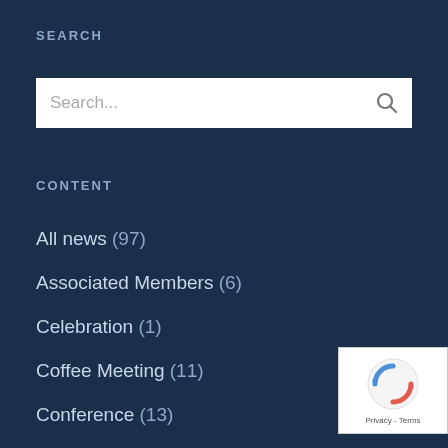SEARCH
[Figure (screenshot): Search input box with placeholder text 'Search...' and a magnifying glass icon on the right]
CONTENT
All news (97)
Associated Members (6)
Celebration (1)
Coffee Meeting (11)
Conference (13)
European Projects (10)
Events (35)